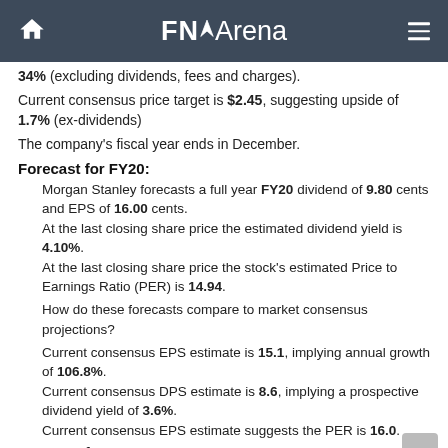FNArena
34% (excluding dividends, fees and charges).
Current consensus price target is $2.45, suggesting upside of 1.7% (ex-dividends)
The company's fiscal year ends in December.
Forecast for FY20:
Morgan Stanley forecasts a full year FY20 dividend of 9.80 cents and EPS of 16.00 cents.
At the last closing share price the estimated dividend yield is 4.10%.
At the last closing share price the stock's estimated Price to Earnings Ratio (PER) is 14.94.
How do these forecasts compare to market consensus projections?
Current consensus EPS estimate is 15.1, implying annual growth of 106.8%.
Current consensus DPS estimate is 8.6, implying a prospective dividend yield of 3.6%.
Current consensus EPS estimate suggests the PER is 16.0.
Forecast for FY21: